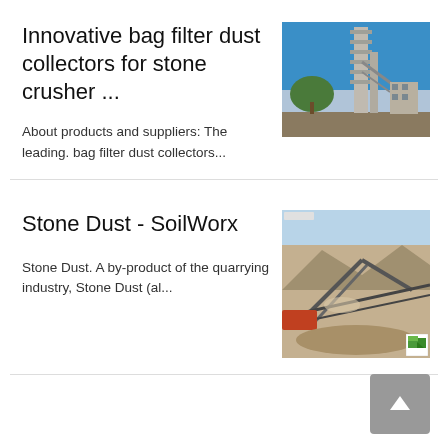Innovative bag filter dust collectors for stone crusher ...
[Figure (photo): Industrial plant with tall structure against blue sky]
About products and suppliers: The leading. bag filter dust collectors...
Stone Dust - SoilWorx
[Figure (photo): Aerial view of quarrying/stone crushing site with machinery]
Stone Dust. A by-product of the quarrying industry, Stone Dust (al...